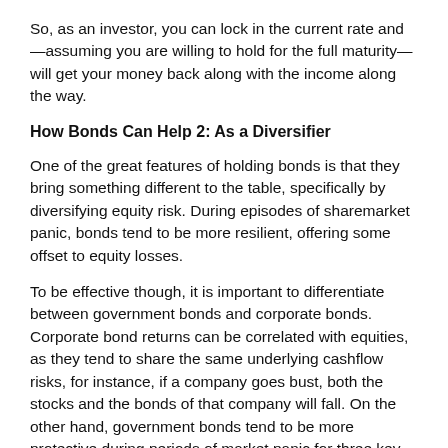So, as an investor, you can lock in the current rate and—assuming you are willing to hold for the full maturity—will get your money back along with the income along the way.
How Bonds Can Help 2: As a Diversifier
One of the great features of holding bonds is that they bring something different to the table, specifically by diversifying equity risk. During episodes of sharemarket panic, bonds tend to be more resilient, offering some offset to equity losses.
To be effective though, it is important to differentiate between government bonds and corporate bonds. Corporate bond returns can be correlated with equities, as they tend to share the same underlying cashflow risks, for instance, if a company goes bust, both the stocks and the bonds of that company will fall. On the other hand, government bonds tend to be more protective during periods of market panic for three key reasons: 1) they are considered to have little to no default risk and offer a lot of liquidity, therefore benefitting from a 'flight to